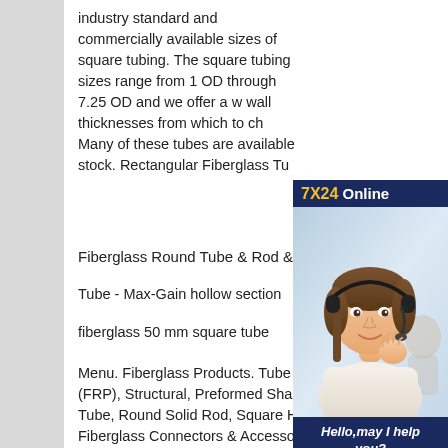industry standard and commercially available sizes of square tubing. The square tubing sizes range from 1 OD through 7.25 OD and we offer a wide wall thicknesses from which to choose. Many of these tubes are available from stock. Rectangular Fiberglass Tub
[Figure (photo): Customer service advertisement with a woman wearing a headset. Header: '7X24 Online' in navy blue with yellow '7X24'. Photo of smiling woman with headset. Footer: 'Hello,may I help you?' in italic white text, and a yellow 'Get Latest Price' button.]
Fiberglass Round Tube & Rod &
Tube - Max-Gain hollow section
fiberglass 50 mm square tube
Menu. Fiberglass Products. Tube & Rod Fiberglass (FRP), Structural, Preformed Shapes, Round Hollow Tube, Round Solid Rod, Square Hollow Tube; Fiberglass Connectors & Accessories Connectors, Tips, Couplers, Ferrules, Accessories;